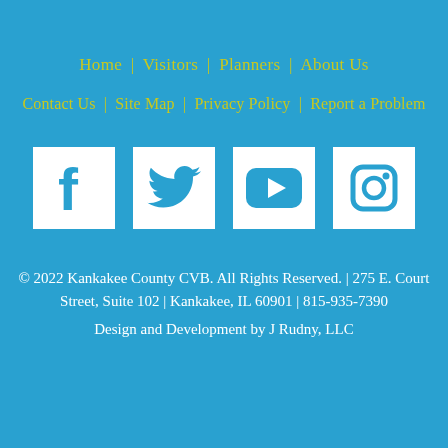Home | Visitors | Planners | About Us
Contact Us | Site Map | Privacy Policy | Report a Problem
[Figure (infographic): Four white square social media icons on blue background: Facebook (f), Twitter (bird), YouTube (play button), Instagram (camera)]
© 2022 Kankakee County CVB. All Rights Reserved. | 275 E. Court Street, Suite 102 | Kankakee, IL 60901 | 815-935-7390
Design and Development by J Rudny, LLC